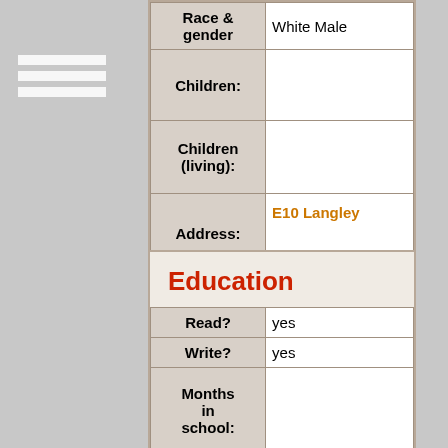| Field | Value |
| --- | --- |
| Race & gender | White Male |
| Children: |  |
| Children (living): |  |
| Address: | E10 Langley |
Education
| Field | Value |
| --- | --- |
| Read? | yes |
| Write? | yes |
| Months in school: |  |
| Speak English? | Polish |